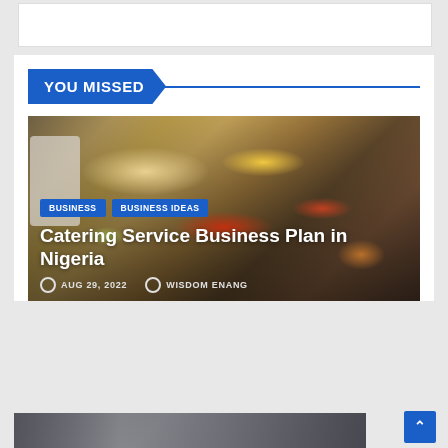YOU MISSED
[Figure (photo): Buffet-style catering spread with multiple metal chafing dishes filled with colorful foods including red stews, yellow rice, and green garnishes, with plates stacked on the left side. Article card with overlay text and metadata.]
Catering Service Business Plan in Nigeria
BUSINESS  BUSINESS IDEAS
AUG 29, 2022   WISDOM ENANG
[Figure (photo): Partial view of a second article image, showing a dark street or market scene.]